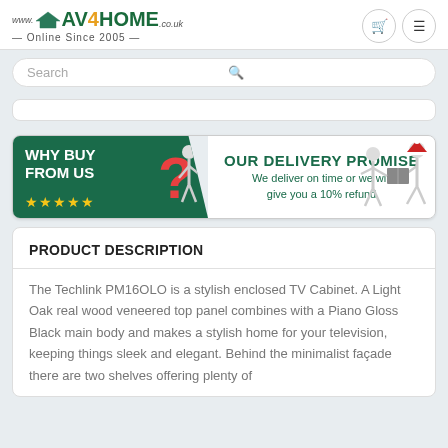[Figure (logo): AV4HOME logo with house icon and tagline 'Online Since 2005']
Search
[Figure (infographic): Banner with 'WHY BUY FROM US?' on green background with 5 stars, and 'OUR DELIVERY PROMISE - We deliver on time or we will give you a 10% refund' with delivery figures]
PRODUCT DESCRIPTION
The Techlink PM16OLO is a stylish enclosed TV Cabinet. A Light Oak real wood veneered top panel combines with a Piano Gloss Black main body and makes a stylish home for your television, keeping things sleek and elegant. Behind the minimalist façade there are two shelves offering plenty of